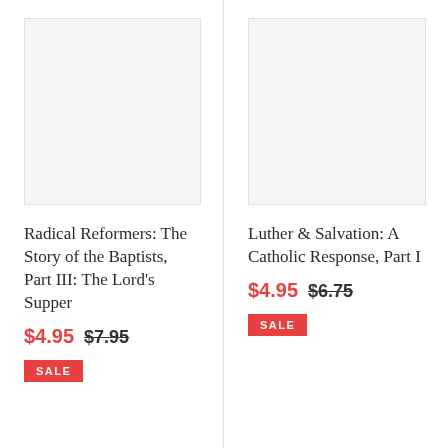[Figure (photo): Book cover placeholder image, light gray background]
Radical Reformers: The Story of the Baptists, Part III: The Lord's Supper
$4.95  $7.95
SALE
[Figure (photo): Book cover placeholder image, light gray background]
Luther & Salvation: A Catholic Response, Part I
$4.95  $6.75
SALE